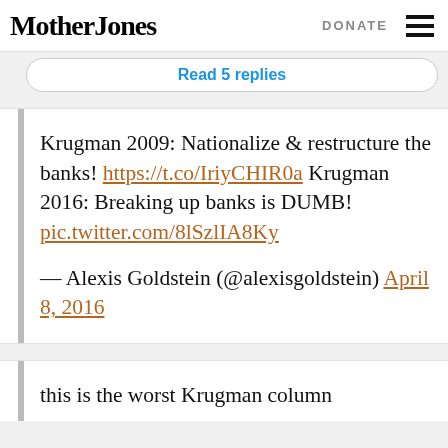Mother Jones | DONATE
Read 5 replies
Krugman 2009: Nationalize & restructure the banks! https://t.co/IriyCHIRoa Krugman 2016: Breaking up banks is DUMB! pic.twitter.com/8lSzlIA8Ky
— Alexis Goldstein (@alexisgoldstein) April 8, 2016
this is the worst Krugman column